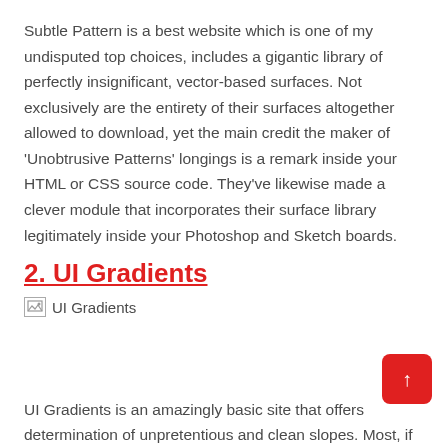Subtle Pattern is a best website which is one of my undisputed top choices, includes a gigantic library of perfectly insignificant, vector-based surfaces. Not exclusively are the entirety of their surfaces altogether allowed to download, yet the main credit the maker of 'Unobtrusive Patterns' longings is a remark inside your HTML or CSS source code. They've likewise made a clever module that incorporates their surface library legitimately inside your Photoshop and Sketch boards.
2. UI Gradients
[Figure (illustration): Broken image placeholder with text 'UI Gradients']
UI Gradients is an amazingly basic site that offers determination of unpretentious and clean slopes. Most, if